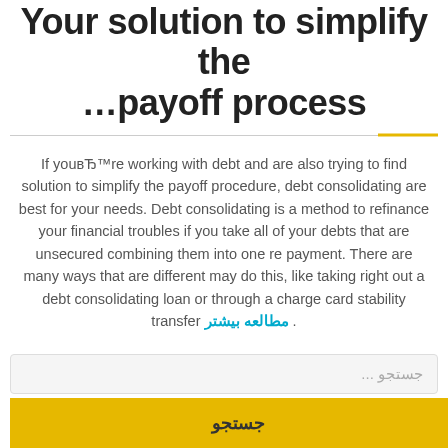Your solution to simplify the …payoff process
If youвЂ™re working with debt and are also trying to find solution to simplify the payoff procedure, debt consolidating are best for your needs. Debt consolidating is a method to refinance your financial troubles if you take all of your debts that are unsecured combining them into one re payment. There are many ways that are different may do this, like taking right out a debt consolidating loan or through a charge card stability transfer مطالعه بیشتر .
جستجو ...
جستجو